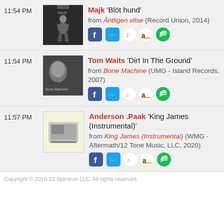11:54 PM — Majk 'Blöt hund' from Äntligen vilse (Record Union, 2014)
11:54 PM — Tom Waits 'Dirt In The Ground' from Bone Machine (UMG - Island Records, 2007)
11:57 PM — Anderson .Paak 'King James (Instrumental)' from King James (Instrumental) (WMG - Aftermath/12 Tone Music, LLC, 2020)
Copyright © 2016-23 Spinitron LLC. All rights reserved.